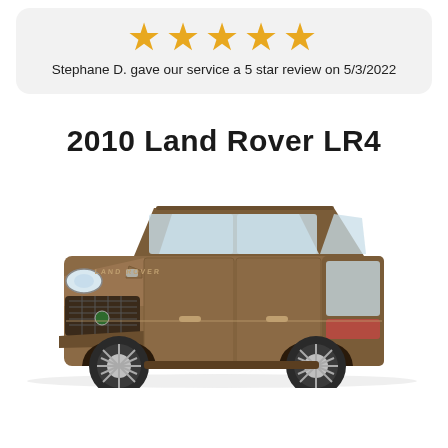[Figure (other): Five gold stars rating display inside a light grey rounded card]
Stephane D. gave our service a 5 star review on 5/3/2022
2010 Land Rover LR4
[Figure (photo): Photo of a bronze/brown 2010 Land Rover LR4 SUV shown from a front three-quarter angle]